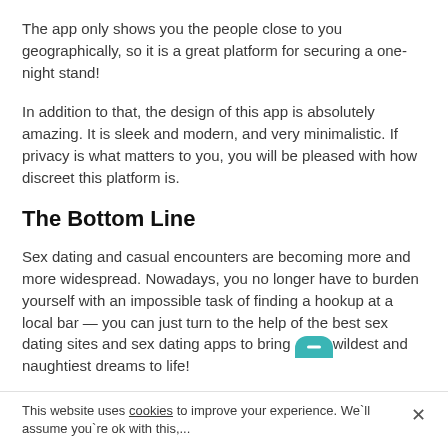The app only shows you the people close to you geographically, so it is a great platform for securing a one-night stand!
In addition to that, the design of this app is absolutely amazing. It is sleek and modern, and very minimalistic. If privacy is what matters to you, you will be pleased with how discreet this platform is.
The Bottom Line
Sex dating and casual encounters are becoming more and more widespread. Nowadays, you no longer have to burden yourself with an impossible task of finding a hookup at a local bar — you can just turn to the help of the best sex dating sites and sex dating apps to bring your wildest and naughtiest dreams to life!
This website uses cookies to improve your experience. We'll assume you're ok with this,...